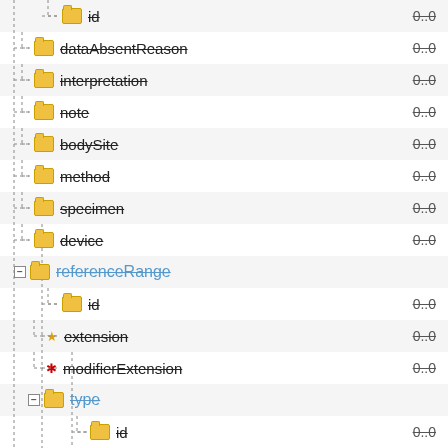id  0..0
dataAbsentReason  0..0
interpretation  0..0
note  0..0
bodySite  0..0
method  0..0
specimen  0..0
device  0..0
referenceRange
id  0..0
extension  0..0
modifierExtension  0..0
type
id  0..0
extension  0..0
text  0..0